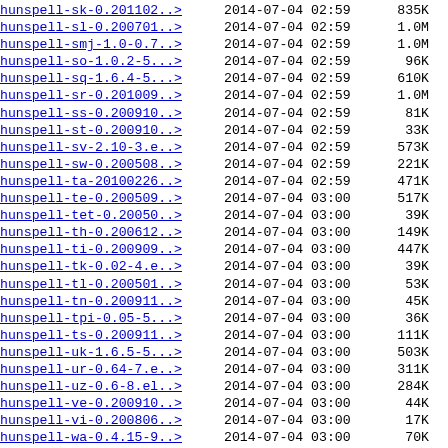| Filename | Date | Time | Size |
| --- | --- | --- | --- |
| hunspell-sk-0.201102..> | 2014-07-04 | 02:59 | 835K |
| hunspell-sl-0.200701..> | 2014-07-04 | 02:59 | 1.0M |
| hunspell-smj-1.0-0.7..> | 2014-07-04 | 02:59 | 1.0M |
| hunspell-so-1.0.2-5...> | 2014-07-04 | 02:59 | 96K |
| hunspell-sq-1.6.4-5...> | 2014-07-04 | 02:59 | 610K |
| hunspell-sr-0.201009..> | 2014-07-04 | 02:59 | 1.0M |
| hunspell-ss-0.200910..> | 2014-07-04 | 02:59 | 81K |
| hunspell-st-0.200910..> | 2014-07-04 | 02:59 | 33K |
| hunspell-sv-2.10-3.e..> | 2014-07-04 | 02:59 | 573K |
| hunspell-sw-0.200508..> | 2014-07-04 | 02:59 | 221K |
| hunspell-ta-20100226..> | 2014-07-04 | 02:59 | 471K |
| hunspell-te-0.200509..> | 2014-07-04 | 03:00 | 517K |
| hunspell-tet-0.20050..> | 2014-07-04 | 03:00 | 39K |
| hunspell-th-0.200612..> | 2014-07-04 | 03:00 | 149K |
| hunspell-ti-0.200909..> | 2014-07-04 | 03:00 | 447K |
| hunspell-tk-0.02-4.e..> | 2014-07-04 | 03:00 | 39K |
| hunspell-tl-0.200501..> | 2014-07-04 | 03:00 | 53K |
| hunspell-tn-0.200911..> | 2014-07-04 | 03:00 | 45K |
| hunspell-tpi-0.05-5...> | 2014-07-04 | 03:00 | 36K |
| hunspell-ts-0.200911..> | 2014-07-04 | 03:00 | 111K |
| hunspell-uk-1.6.5-5...> | 2014-07-04 | 03:00 | 503K |
| hunspell-ur-0.64-7.e..> | 2014-07-04 | 03:00 | 311K |
| hunspell-uz-0.6-8.el..> | 2014-07-04 | 03:00 | 284K |
| hunspell-ve-0.200910..> | 2014-07-04 | 03:00 | 44K |
| hunspell-vi-0.200806..> | 2014-07-04 | 03:00 | 17K |
| hunspell-wa-0.4.15-9..> | 2014-07-04 | 03:00 | 70K |
| hunspell-xh-0.200910..> | 2014-07-04 | 03:00 | 75K |
| hunspell-yi-1.1-7.el..> | 2014-07-04 | 03:00 | 298K |
| hunspell-zu-0.201001..> | 2014-07-04 | 03:00 | 356K |
| hwdata-0.252-9.7.el7..> | 2020-10-14 | 19:50 | 2.5M |